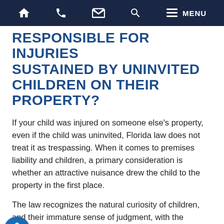Home | Phone | Email | Search | Menu
RESPONSIBLE FOR INJURIES SUSTAINED BY UNINVITED CHILDREN ON THEIR PROPERTY?
If your child was injured on someone else’s property, even if the child was uninvited, Florida law does not treat it as trespassing. When it comes to premises liability and children, a primary consideration is whether an attractive nuisance drew the child to the property in the first place.
The law recognizes the natural curiosity of children, and their immature sense of judgment, with the attractive nuisance doctrine. The Legal Information Institute at Cornell University Law School defines this as a legal doctrine “under which a landowner may be liable for injuries to children trespassing on their property if